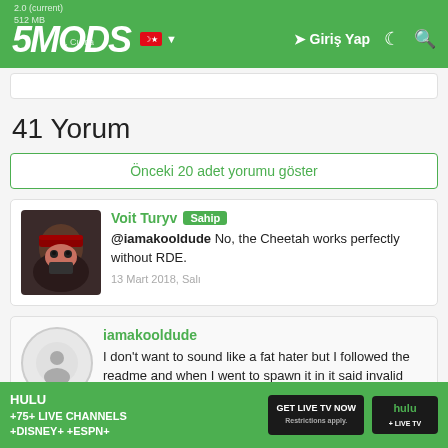5MODS | Giriş Yap
41 Yorum
Önceki 20 adet yorumu göster
Voit Turyv Sahip
@iamakooldude No, the Cheetah works perfectly without RDE.
13 Mart 2018, Salı
iamakooldude
I don't want to sound like a fat hater but I followed the readme and when I went to spawn it in it said invalid model and yes I made sure I spelled the car right to spawn it in
[Figure (infographic): Hulu advertisement banner: HULU +75+ LIVE CHANNELS +DISNEY+ +ESPN+ GET LIVE TV NOW button, Hulu + Live TV logo, Restrictions apply.]